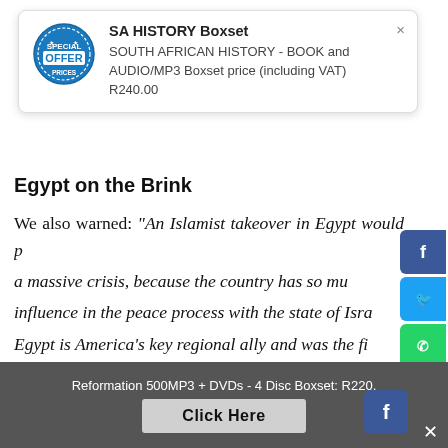[Figure (infographic): Popup card with SA HISTORY Boxset offer showing a circular blue OFFER stamp logo, title 'SA HISTORY Boxset', and description text about South African History book and audio/MP3 boxset priced at R240.00 including VAT. Close button (×) in top right.]
Egypt on the Brink
We also warned: "An Islamist takeover in Egypt would p... a massive crisis, because the country has so mu... influence in the peace process with the state of Isra... Egypt is America's key regional ally and was the fi... Arab state to make peace with Israel. The vital Suez Canal is controlled by Egypt... the popular uprising i... Egypt is being described by Iranians as an Islami... Awakening, which could lead to the establishment of a...
Reformation 500MP3 + DVDs - 4 Disc Boxset: R220.   Click Here